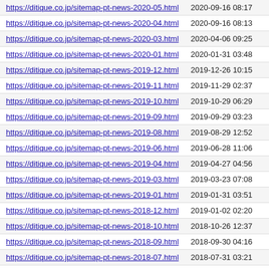| URL | Date |
| --- | --- |
| https://ditique.co.jp/sitemap-pt-news-2020-05.html | 2020-09-16 08:17 |
| https://ditique.co.jp/sitemap-pt-news-2020-04.html | 2020-09-16 08:13 |
| https://ditique.co.jp/sitemap-pt-news-2020-03.html | 2020-04-06 09:25 |
| https://ditique.co.jp/sitemap-pt-news-2020-01.html | 2020-01-31 03:48 |
| https://ditique.co.jp/sitemap-pt-news-2019-12.html | 2019-12-26 10:15 |
| https://ditique.co.jp/sitemap-pt-news-2019-11.html | 2019-11-29 02:37 |
| https://ditique.co.jp/sitemap-pt-news-2019-10.html | 2019-10-29 06:29 |
| https://ditique.co.jp/sitemap-pt-news-2019-09.html | 2019-09-29 03:23 |
| https://ditique.co.jp/sitemap-pt-news-2019-08.html | 2019-08-29 12:52 |
| https://ditique.co.jp/sitemap-pt-news-2019-06.html | 2019-06-28 11:06 |
| https://ditique.co.jp/sitemap-pt-news-2019-04.html | 2019-04-27 04:56 |
| https://ditique.co.jp/sitemap-pt-news-2019-03.html | 2019-03-23 07:08 |
| https://ditique.co.jp/sitemap-pt-news-2019-01.html | 2019-01-31 03:51 |
| https://ditique.co.jp/sitemap-pt-news-2018-12.html | 2019-01-02 02:20 |
| https://ditique.co.jp/sitemap-pt-news-2018-10.html | 2018-10-26 12:37 |
| https://ditique.co.jp/sitemap-pt-news-2018-09.html | 2018-09-30 04:16 |
| https://ditique.co.jp/sitemap-pt-news-2018-07.html | 2018-07-31 03:21 |
| https://ditique.co.jp/sitemap-pt-news-2018-06.html | 2018-06-17 06:02 |
| https://ditique.co.jp/sitemap-pt-news-2018-04.html | 2018-04-30 02:21 |